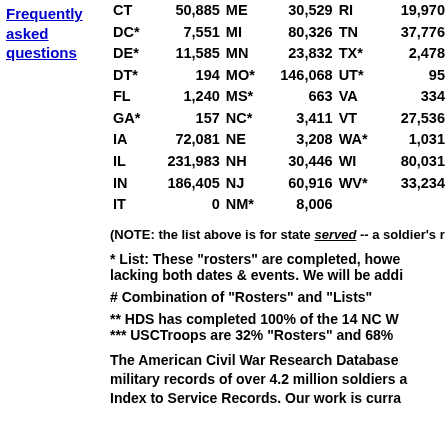Frequently asked questions
| Code | Value | Code | Value | Code | Value |
| --- | --- | --- | --- | --- | --- |
| CT | 50,885 | ME | 30,529 | RI | 19,970 |
| DC* | 7,551 | MI | 80,326 | TN | 37,776 |
| DE* | 11,585 | MN | 23,832 | TX* | 2,478 |
| DT* | 194 | MO* | 146,068 | UT* | 95 |
| FL | 1,240 | MS* | 663 | VA | 334 |
| GA* | 157 | NC* | 3,411 | VT | 27,536 |
| IA | 72,081 | NE | 3,208 | WA* | 1,031 |
| IL | 231,983 | NH | 30,446 | WI | 80,031 |
| IN | 186,405 | NJ | 60,916 | WV* | 33,234 |
| IT | 0 | NM* | 8,006 |  |  |
(NOTE: the list above is for state served -- a soldier's r...
* List: These "rosters" are completed, however, many are lacking both dates & events. We will be addi...
# Combination of "Rosters" and "Lists"
** HDS has completed 100% of the 14 NC W... *** USCTroops are 32% "Rosters" and 68%...
The American Civil War Research Database... military records of over 4.2 million soldiers a... Index to Service Records. Our work is curra...